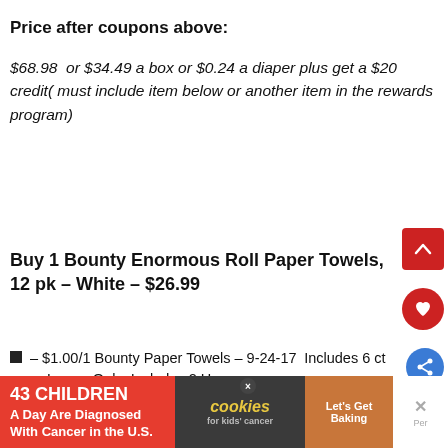Price after coupons above:
$68.98  or $34.49 a box or $0.24 a diaper plus get a $20 credit( must include item below or another item in the rewards program)
Buy 1 Bounty Enormous Roll Paper Towels, 12 pk – White – $26.99
– $1.00/1 Bounty Paper Towels – 9-24-17; Includes 6 ct or Larger Only; Includes 2 Huge
[Figure (screenshot): Advertisement banner: 43 Children A Day Are Diagnosed With Cancer in the U.S. with cookies for kids cancer and Let's Get Baking promo.]